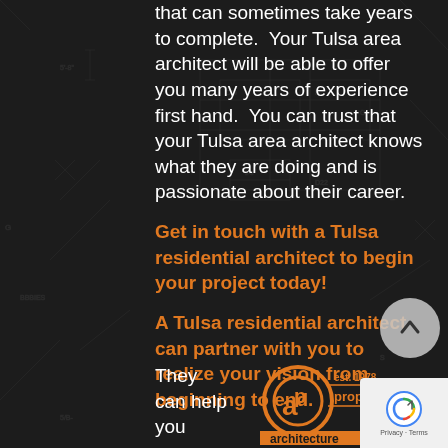that can sometimes take years to complete.  Your Tulsa area architect will be able to offer you many years of experience first hand.  You can trust that your Tulsa area architect knows what they are doing and is passionate about their career.
Get in touch with a Tulsa residential architect to begin your project today!
A Tulsa residential architect can partner with you to realize your vision from beginning to end.
They can help you
[Figure (logo): Property Arts Inc architecture logo with circular AP emblem, 'est. 1978', 'property arts inc' text, and 'architecture' text banner at bottom, all in orange]